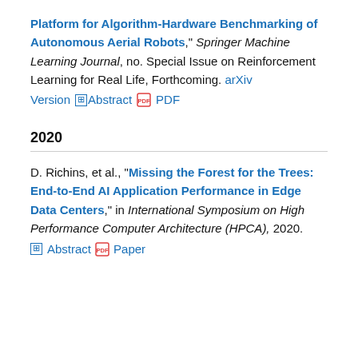Platform for Algorithm-Hardware Benchmarking of Autonomous Aerial Robots," Springer Machine Learning Journal, no. Special Issue on Reinforcement Learning for Real Life, Forthcoming. arXiv Version ⊞ Abstract 🔲 PDF
2020
D. Richins, et al., "Missing the Forest for the Trees: End-to-End AI Application Performance in Edge Data Centers," in International Symposium on High Performance Computer Architecture (HPCA), 2020. ⊞ Abstract 🔲 Paper